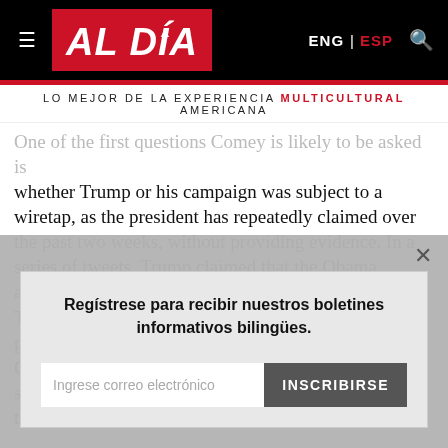AL DÍA — ENG | ESP
LO MEJOR DE LA EXPERIENCIA MULTICULTURAL AMERICANA
One of the first questions Comey is likely to be asked is whether Trump or his campaign was subject to a wiretap, as the president has repeatedly claimed over the past two weeks, without providing evidence. In a series of tweets, Trump claimed that the Obama administration wiretapped the phones in the Trump Tower during the electoral campaign. He drew parallels to Watergate and McCarthyism and said Obama was a "Bad (or sick) guy!" for ordering surveillance of his New York residence -- allegations the former president quickly denied
Regístrese para recibir nuestros boletines informativos bilingües.
Ingrese correo electrónico
INSCRIBIRSE